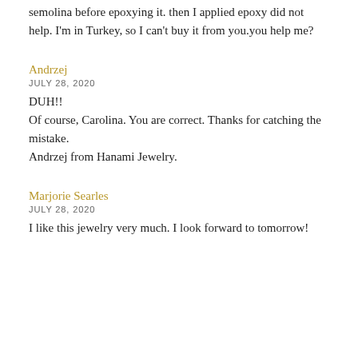semolina before epoxying it. then I applied epoxy did not help. I'm in Turkey, so I can't buy it from you.you help me?
Andrzej
JULY 28, 2020
DUH!!
Of course, Carolina. You are correct. Thanks for catching the mistake.
Andrzej from Hanami Jewelry.
Marjorie Searles
JULY 28, 2020
I like this jewelry very much. I look forward to tomorrow!